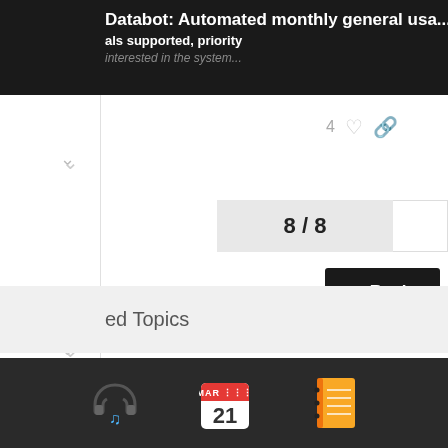Databot: Automated monthly general usa...
als supported, priority
interested in the system...
4
8 / 8
Reply
ed Topics
[Figure (screenshot): Bottom taskbar with music app icon (headphones with musical notes), calendar app icon showing MAR 21, and a notebook/notes app icon]